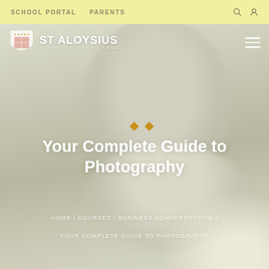SCHOOL PORTAL   PARENTS
[Figure (screenshot): St Aloysius Schools Garki Abua school website screenshot showing navigation bar with school logo and hamburger menu, hero section with blurred child photo background, page title 'Your Complete Guide to Photography', and breadcrumb navigation]
Your Complete Guide to Photography
HOME / COURSES / BUSINESS ADMINISTRATION / YOUR COMPLETE GUIDE TO PHOTOGRAPHY